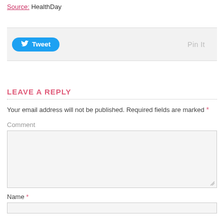Source: HealthDay
[Figure (screenshot): Social share bar with Tweet button and Pin It link on light gray background]
LEAVE A REPLY
Your email address will not be published. Required fields are marked *
Comment
Name *